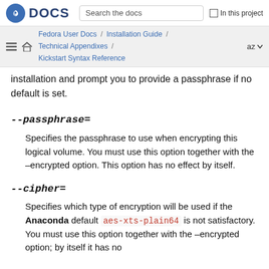DOCS | Search the docs | In this project
Fedora User Docs / Installation Guide / Technical Appendixes / Kickstart Syntax Reference | az
installation and prompt you to provide a passphrase if no default is set.
--passphrase=
Specifies the passphrase to use when encrypting this logical volume. You must use this option together with the –encrypted option. This option has no effect by itself.
--cipher=
Specifies which type of encryption will be used if the Anaconda default aes-xts-plain64 is not satisfactory. You must use this option together with the –encrypted option; by itself it has no